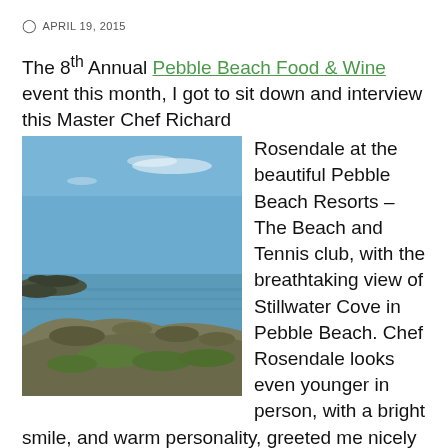APRIL 19, 2015
The 8th Annual Pebble Beach Food & Wine event this month, I got to sit down and interview this Master Chef Richard Rosendale at the beautiful Pebble Beach Resorts – The Beach and Tennis club, with the breathtaking view of Stillwater Cove in Pebble Beach. Chef Rosendale looks even younger in person, with a bright smile, and warm personality, greeted me nicely at the Dining Room here. Chef Rosendale is a Certified Master Chef, a distinction earned through the American Culinary Federation. The grueling 130 hour cooking exam held at the Culinary Institute of America has a 90% fail rate and only 67 chefs have ever
[Figure (photo): Coastal rocky shoreline with blue sky and calm water, Stillwater Cove at Pebble Beach]